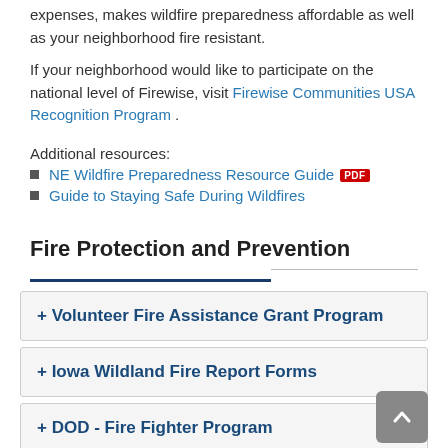expenses, makes wildfire preparedness affordable as well as your neighborhood fire resistant.
If your neighborhood would like to participate on the national level of Firewise, visit Firewise Communities USA Recognition Program .
Additional resources:
NE Wildfire Preparedness Resource Guide [PDF]
Guide to Staying Safe During Wildfires
Fire Protection and Prevention
+ Volunteer Fire Assistance Grant Program
+ Iowa Wildland Fire Report Forms
+ DOD - Fire Fighter Program
+ Federal Excess Property Program